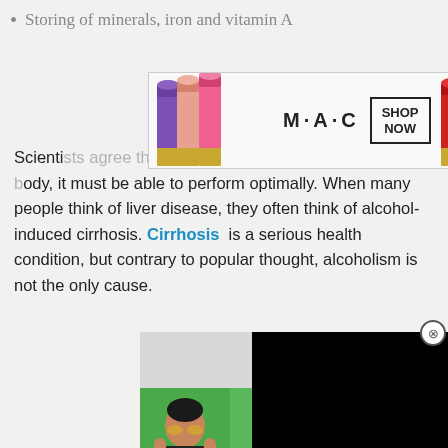Storing of minerals, iron and vitamin A
[Figure (photo): MAC cosmetics advertisement banner showing lipsticks, MAC logo, and SHOP NOW button]
Scientists agree that for the liver to properly support the body, it must be able to perform optimally. When many people think of liver disease, they often think of alcohol-induced cirrhosis. Cirrhosis is a serious health condition, but contrary to popular thought, alcoholism is not the only cause.
[Figure (photo): Black overlay video/ad box with close button]
[Figure (photo): Green advertisement: 37 Best Products With Such Good Reviews You Might Want To Try Them Yourself - 22 Words]
[Figure (photo): Bloomingdales advertisement: View Today's Top Deals! SHOP NOW >]